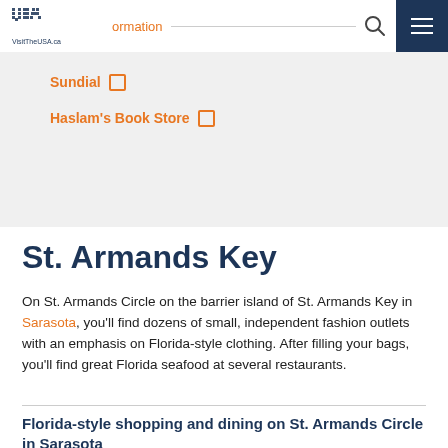VisitTheUSA.ca — navigation bar with logo, search, and menu
Sundial [external link]
Haslam's Book Store [external link]
St. Armands Key
On St. Armands Circle on the barrier island of St. Armands Key in Sarasota, you'll find dozens of small, independent fashion outlets with an emphasis on Florida-style clothing. After filling your bags, you'll find great Florida seafood at several restaurants.
Florida-style shopping and dining on St. Armands Circle in Sarasota